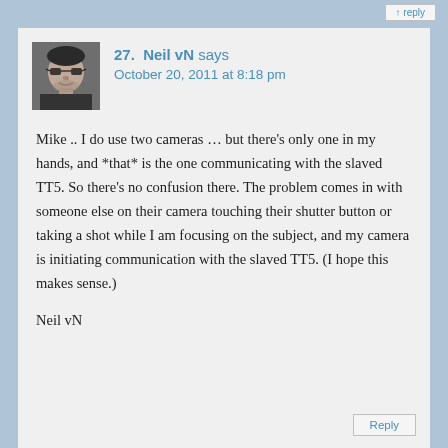[Figure (photo): Small avatar/profile photo of Neil vN, a man wearing glasses, grayscale image]
27.  Neil vN says
October 20, 2011 at 8:18 pm
Mike .. I do use two cameras … but there's only one in my hands, and *that* is the one communicating with the slaved TT5. So there's no confusion there. The problem comes in with someone else on their camera touching their shutter button or taking a shot while I am focusing on the subject, and my camera is initiating communication with the slaved TT5. (I hope this makes sense.)

Neil vN